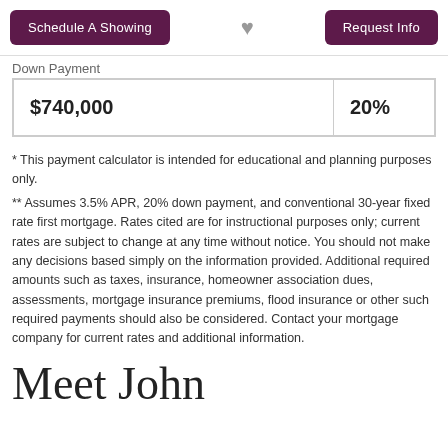[Figure (other): Top navigation bar with 'Schedule A Showing' purple button on left, grey heart icon in center, and 'Request Info' purple button on right]
Down Payment
| $740,000 | 20% |
* This payment calculator is intended for educational and planning purposes only.
** Assumes 3.5% APR, 20% down payment, and conventional 30-year fixed rate first mortgage. Rates cited are for instructional purposes only; current rates are subject to change at any time without notice. You should not make any decisions based simply on the information provided. Additional required amounts such as taxes, insurance, homeowner association dues, assessments, mortgage insurance premiums, flood insurance or other such required payments should also be considered. Contact your mortgage company for current rates and additional information.
Meet John